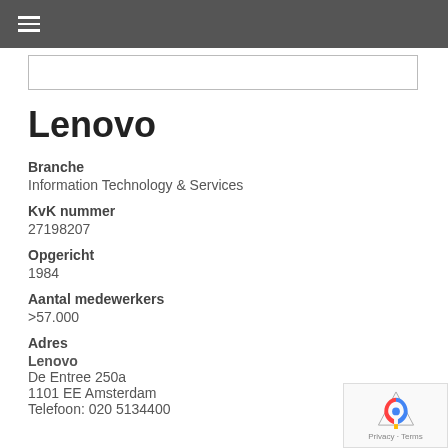☰
Lenovo
Branche
Information Technology & Services
KvK nummer
27198207
Opgericht
1984
Aantal medewerkers
>57.000
Adres
Lenovo
De Entree 250a
1101 EE Amsterdam
Telefoon: 020 5134400
[Figure (logo): reCAPTCHA badge with Privacy and Terms]